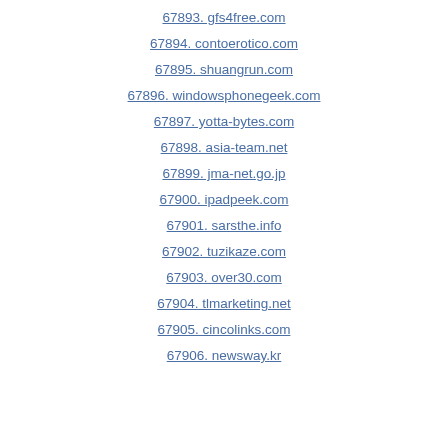67893. gfs4free.com
67894. contoerotico.com
67895. shuangrun.com
67896. windowsphonegeek.com
67897. yotta-bytes.com
67898. asia-team.net
67899. jma-net.go.jp
67900. ipadpeek.com
67901. sarsthe.info
67902. tuzikaze.com
67903. over30.com
67904. tlmarketing.net
67905. cincolinks.com
67906. newsway.kr